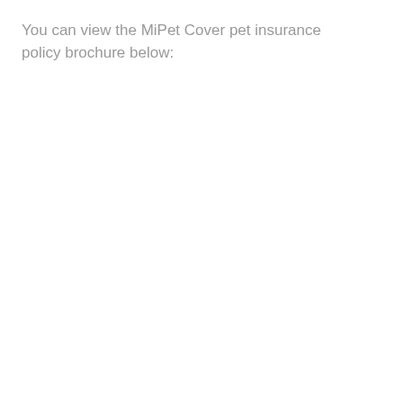You can view the MiPet Cover pet insurance policy brochure below: